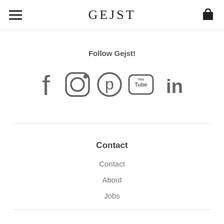GEJST
Follow Gejst!
[Figure (infographic): Social media icons: Facebook, Instagram, Pinterest, YouTube, LinkedIn]
Contact
Contact
About
Jobs